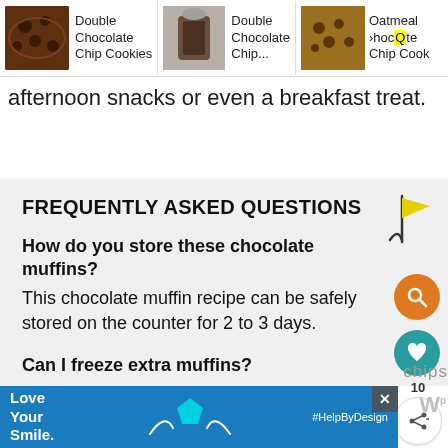[Figure (screenshot): Navigation bar with three cookie/food item thumbnails and labels: 'Double Chocolate Chip Cookies', 'Double Chocolate Chip...', 'Oatmeal Choc[search highlight]te Chip Cook']
afternoon snacks or even a breakfast treat.
FREQUENTLY ASKED QUESTIONS
How do you store these chocolate muffins?
This chocolate muffin recipe can be safely stored on the counter for 2 to 3 days.
Can I freeze extra muffins?
This easy recipe freezes well in a Ziploc or storage container for up to three months.
[Figure (screenshot): Ad banner: Love Your Smile. with cyan pentagon icon and #HelpByDesign text on blue background, with close X button]